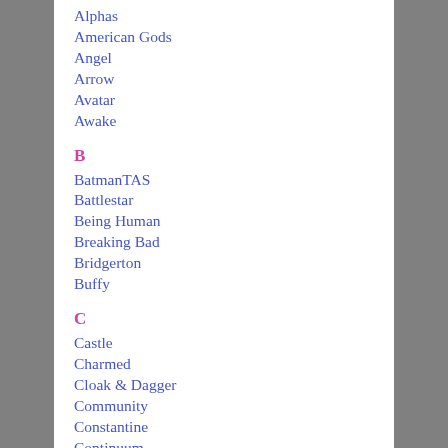Alphas
American Gods
Angel
Arrow
Avatar
Awake
B
BatmanTAS
Battlestar
Being Human
Breaking Bad
Bridgerton
Buffy
C
Castle
Charmed
Cloak & Dagger
Community
Constantine
Continuum
The Crown
D